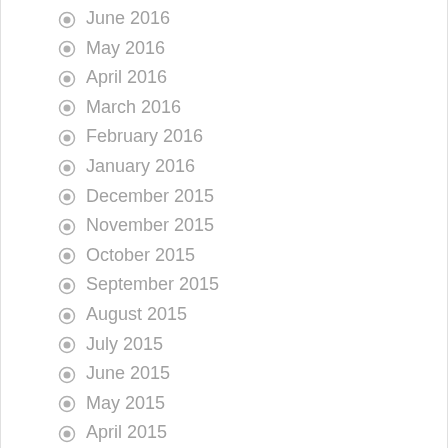June 2016
May 2016
April 2016
March 2016
February 2016
January 2016
December 2015
November 2015
October 2015
September 2015
August 2015
July 2015
June 2015
May 2015
April 2015
March 2015
February 2015
January 2015
Categories